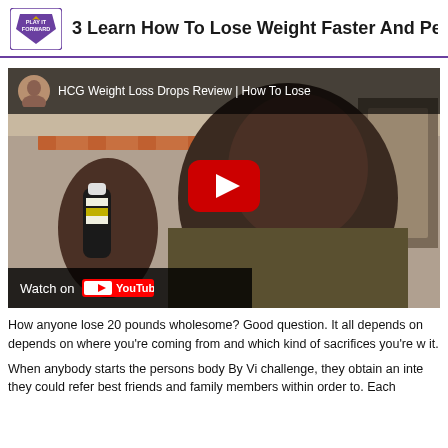3 Learn How To Lose Weight Faster And Perm
[Figure (screenshot): YouTube video thumbnail showing a woman holding a small bottle. Title reads 'HCG Weight Loss Drops Review | How To Lose' with a red play button in the center and 'Watch on YouTube' bar at the bottom.]
How anyone lose 20 pounds wholesome? Good question. It all depends on depends on where you're coming from and which kind of sacrifices you're w it.
When anybody starts the persons body By Vi challenge, they obtain an inte they could refer best friends and family members within order to. Each